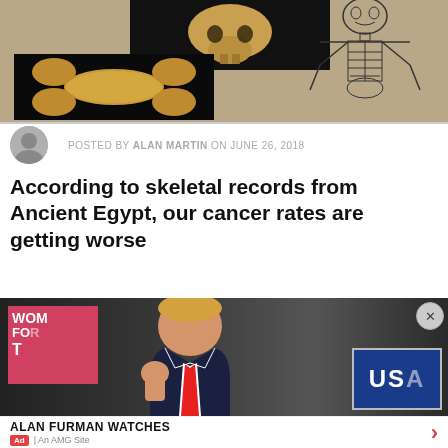[Figure (photo): Top composite image showing a skull photo on dark background (top center), a golden bone/vertebra specimen on dark background (lower left), and a hand-drawn skeleton illustration (right side)]
POSTED BY ALAN MARTIN ON JUNE 26, 2018
According to skeletal records from Ancient Egypt, our cancer rates are getting worse
[Figure (photo): Photo of Donald Trump in a suit with red tie raising his fist, with campaign signs including 'WOMEN FOR' and 'USA' visible in the background crowd]
ALAN FURMAN WATCHES
Ad | An AMG Site